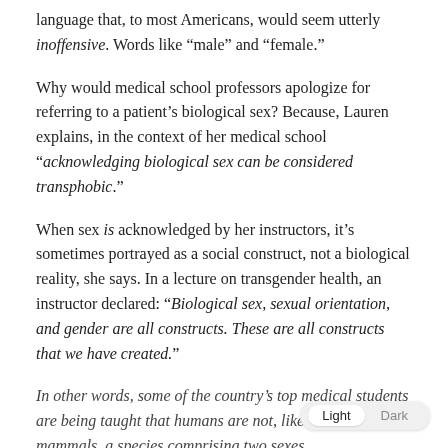language that, to most Americans, would seem utterly inoffensive. Words like “male” and “female.”
Why would medical school professors apologize for referring to a patient’s biological sex? Because, Lauren explains, in the context of her medical school “acknowledging biological sex can be considered transphobic.”
When sex is acknowledged by her instructors, it’s sometimes portrayed as a social construct, not a biological reality, she says. In a lecture on transgender health, an instructor declared: “Biological sex, sexual orientation, and gender are all constructs. These are all constructs that we have created.”
In other words, some of the country’s top medical students are being taught that humans are not, like all other mammals, a species comprising two sexes.